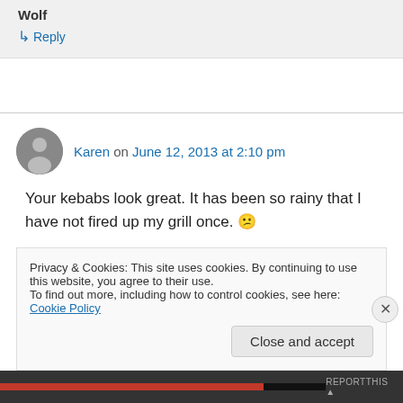Wolf
↳ Reply
Karen on June 12, 2013 at 2:10 pm
Your kebabs look great. It has been so rainy that I have not fired up my grill once. 😕
Privacy & Cookies: This site uses cookies. By continuing to use this website, you agree to their use.
To find out more, including how to control cookies, see here: Cookie Policy
Close and accept